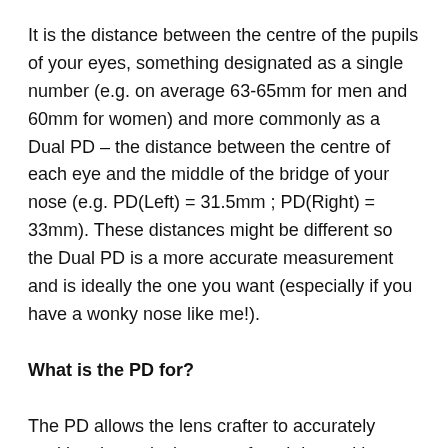It is the distance between the centre of the pupils of your eyes, something designated as a single number (e.g. on average 63-65mm for men and 60mm for women) and more commonly as a Dual PD – the distance between the centre of each eye and the middle of the bridge of your nose (e.g. PD(Left) = 31.5mm ; PD(Right) = 33mm). These distances might be different so the Dual PD is a more accurate measurement and is ideally the one you want (especially if you have a wonky nose like me!).
What is the PD for?
The PD allows the lens crafter to accurately position the optical centre of each lens with centre of each pupil. This means that the corrective power of the lens is in perfect alignment with your field of vision – exactly what you're looking for.